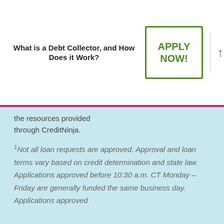What is a Debt Collector, and How Does it Work?
the resources provided through CreditNinja.
¹Not all loan requests are approved. Approval and loan terms vary based on credit determination and state law. Applications approved before 10:30 a.m. CT Monday – Friday are generally funded the same business day. Applications approved